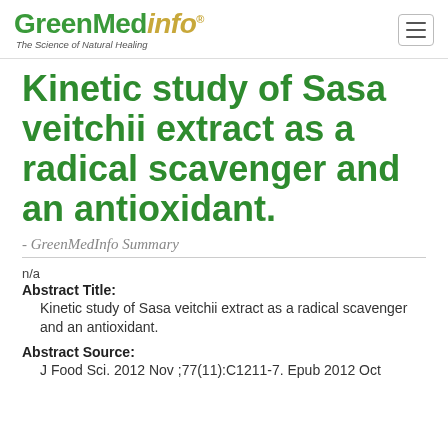GreenMedInfo - The Science of Natural Healing
Kinetic study of Sasa veitchii extract as a radical scavenger and an antioxidant.
- GreenMedInfo Summary
n/a
Abstract Title: Kinetic study of Sasa veitchii extract as a radical scavenger and an antioxidant.
Abstract Source: J Food Sci. 2012 Nov ;77(11):C1211-7. Epub 2012 Oct